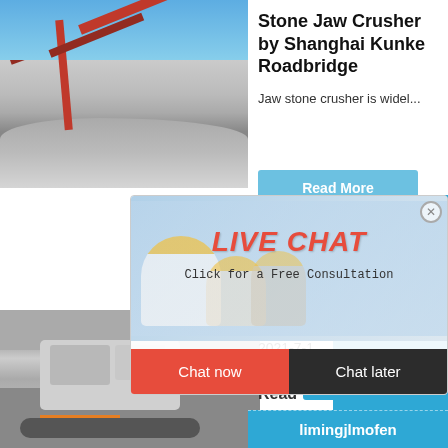[Figure (photo): Outdoor stone crushing plant with red conveyor belt structure and white crushed stone rubble, blue sky background]
Stone Jaw Crusher by Shanghai Kunke Roadbridge
Jaw stone crusher is widel...
[Figure (screenshot): Live Chat popup overlay with workers in yellow hard hats, LIVE CHAT text in red italic, 'Click for a Free Consultation' text, Chat now (red) and Chat later (dark) buttons]
[Figure (photo): Mobile crawler stone crusher machine on tracked undercarriage, grey/white body with orange stripe]
hour online
[Figure (photo): Grey jaw crusher machine on blue background]
2021-7-1
Click me to chat>>
Read
Enquiry
limingjlmofen